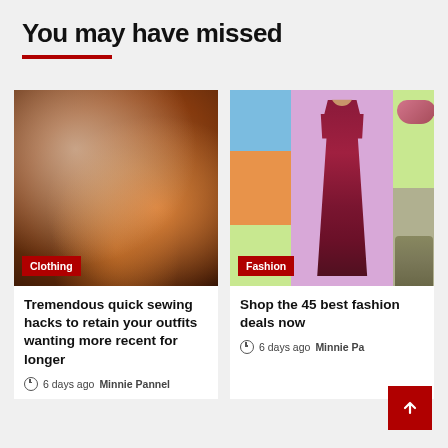You may have missed
[Figure (photo): Close-up photo of elderly hands sewing orange fabric with a needle and thread. Red badge labeled 'Clothing' in bottom-left corner.]
Tremendous quick sewing hacks to retain your outfits wanting more recent for longer
6 days ago  Minnie Pannel
[Figure (photo): Fashion collage showing a woman in a red/maroon ruffled dress against a pink background, with colored panels on sides showing a bag, sunglasses, and jacket. Red badge labeled 'Fashion' in bottom-left corner.]
Shop the 45 best fashion deals now
6 days ago  Minnie Pa...